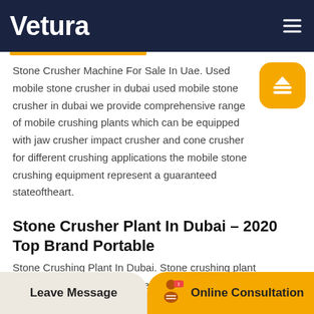Vetura
Stone Crusher Machine For Sale In Uae. Used mobile stone crusher in dubai used mobile stone crusher in dubai we provide comprehensive range of mobile crushing plants which can be equipped with jaw crusher impact crusher and cone crusher for different crushing applications the mobile stone crushing equipment represent a guaranteed stateoftheart.
Stone Crusher Plant In Dubai – 2020 Top Brand Portable
Stone Crushing Plant In Dubai. Stone crushing plant manufacturers in china.Stone crusher companies in uae dellcleaninggroup.Crushers companies in uae schoolsdxb.Crusher companies in uae
Leave Message   Online Consultation